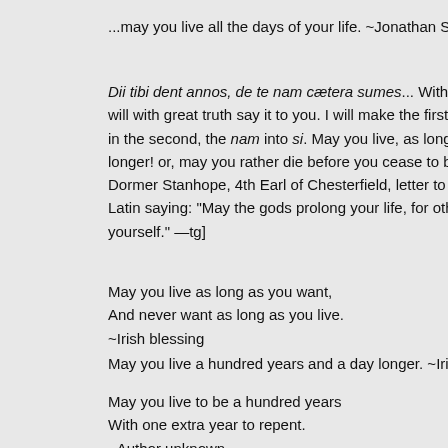...may you live all the days of your life. ~Jonathan Swift
Dii tibi dent annos, de te nam cætera sumes... With the will with great truth say it to you. I will make the first part in the second, the nam into si. May you live, as long as you longer! or, may you rather die before you cease to be fit Dormer Stanhope, 4th Earl of Chesterfield, letter to his s Latin saying: "May the gods prolong your life, for other th yourself." —tg]
May you live as long as you want,
And never want as long as you live.
~Irish blessing
May you live a hundred years and a day longer. ~Irish bl
May you live to be a hundred years
With one extra year to repent.
~Author unknown